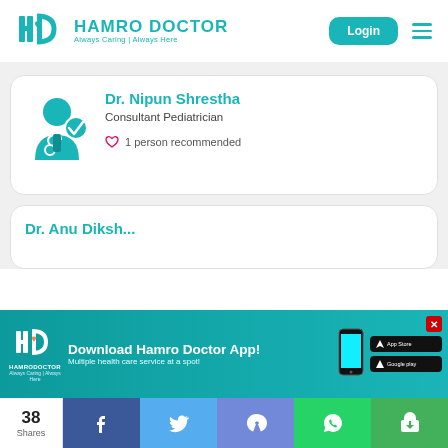[Figure (logo): Hamro Doctor logo with teal HD icon and tagline 'Always Caring | Always Here']
Login
Dr. Nipun Shrestha
Consultant Pediatrician
1 person recommended
[Figure (screenshot): Download Hamro Doctor App! advertisement banner with app store buttons and phone image]
38 Shares